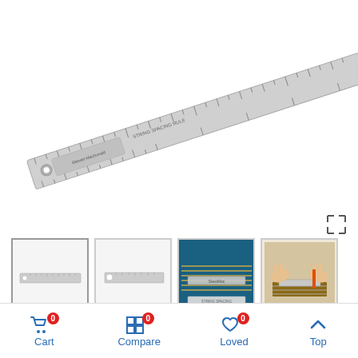[Figure (photo): A metal guitar string spacing ruler (Stewart-MacDonald) shown diagonally against a white background]
[Figure (photo): Four product thumbnail images: 1) ruler lying flat, 2) close-up of ruler end, 3) ruler being used on guitar bridge with strings, 4) hands using the ruler on a guitar nut]
Stew Mac string
Cart 0  Compare 0  Loved 0  Top